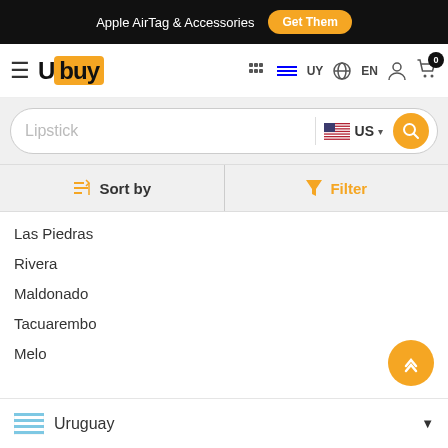Apple AirTag & Accessories  Get Them
[Figure (logo): Ubuy logo with hamburger menu, UY flag, EN language selector, user icon, and cart icon with 0 badge]
Lipstick  US (search bar with US flag)
Sort by   Filter
Las Piedras
Rivera
Maldonado
Tacuarembo
Melo
Uruguay